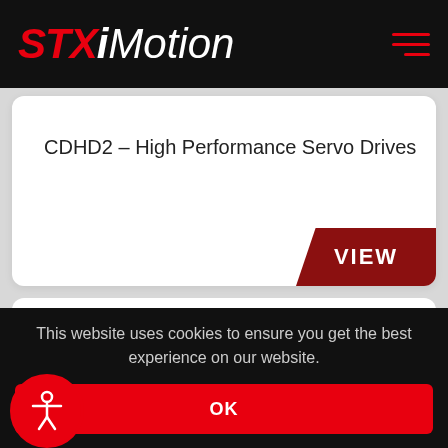STXiMotion
CDHD2 – High Performance Servo Drives
VIEW
This website uses cookies to ensure you get the best experience on our website.
OK